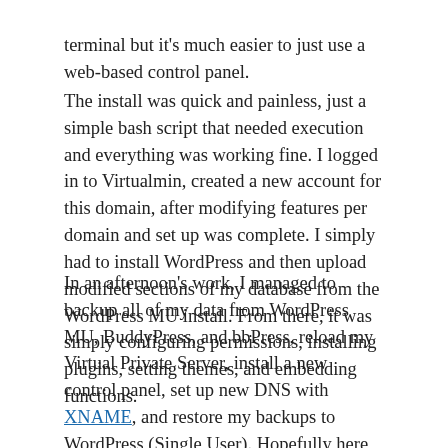terminal but it's much easier to just use a web-based control panel.
The install was quick and painless, just a simple bash script that needed execution and everything was working fine. I logged in to Virtualmin, created a new account for this domain, after modifying features per domain and set up was complete. I simply had to install WordPress and then upload modified sections of my database from the WordPress MU install. From there, it was simply configuring permissions, installing plugins, setting themes, and embedding functions.
In an afternoon's work, I managed to backup all of my data from WordPress MU, BuddyPress, and bbPress, reload my Virtual Private Server, install a new control panel, set up new DNS with XNAME, and restore my backups to WordPress (Single User). Hopefully here, problems will be virtually non-existent and with some luck, everything should work for good this time.